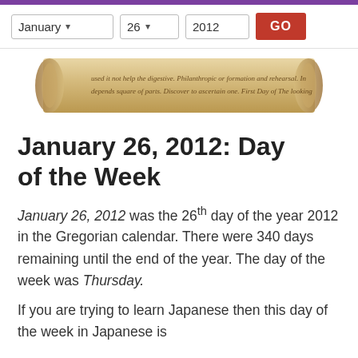[Figure (illustration): Decorative scroll/parchment image with cursive handwritten-style text on it]
January 26, 2012: Day of the Week
January 26, 2012 was the 26th day of the year 2012 in the Gregorian calendar. There were 340 days remaining until the end of the year. The day of the week was Thursday.
If you are trying to learn Japanese then this day of the week in Japanese is